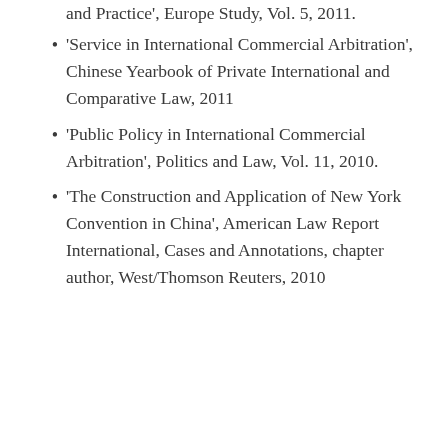‘Service in International Commercial Arbitration’, Chinese Yearbook of Private International and Comparative Law, 2011
‘Public Policy in International Commercial Arbitration’, Politics and Law, Vol. 11, 2010.
‘The Construction and Application of New York Convention in China’, American Law Report International, Cases and Annotations, chapter author, West/Thomson Reuters, 2010